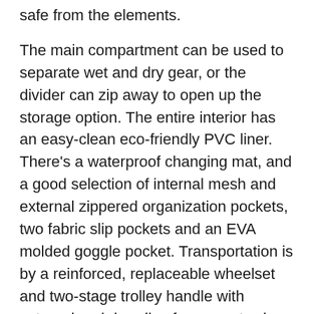safe from the elements.
The main compartment can be used to separate wet and dry gear, or the divider can zip away to open up the storage option. The entire interior has an easy-clean eco-friendly PVC liner. There’s a waterproof changing mat, and a good selection of internal mesh and external zippered organization pockets, two fabric slip pockets and an EVA molded goggle pocket. Transportation is by a reinforced, replaceable wheelset and two-stage trolley handle with external grab handles for easy stowing and lifting. Pro Circuit’s Monster Recon looks fantastic and is built for lasting protection and durability.
Approximate measurements L/W/H (cm): 76 x 45 x 42
Replaceable wheels and extending handle